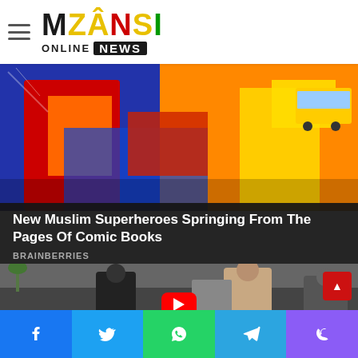Mzansi Online News
[Figure (photo): Comic book superhero illustration — Ms. Marvel character with colorful costume against city street backdrop]
New Muslim Superheroes Springing From The Pages Of Comic Books
BRAINBERRIES
[Figure (photo): Celebrity couple walking together at an event — man in dark jacket and woman in beige outfit]
Social share buttons: Facebook, Twitter, WhatsApp, Telegram, Phone